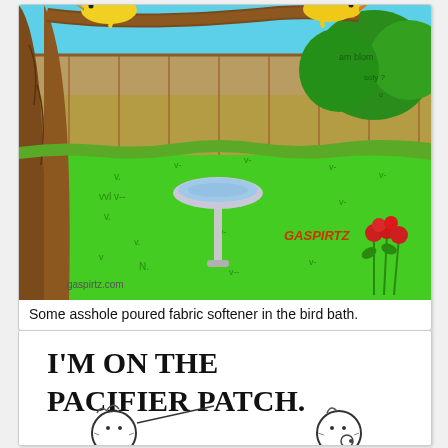[Figure (illustration): Color cartoon comic panel: two yellow birds perched on a tree branch, looking down at a bird bath in a green backyard with a wooden fence and green shrub in background, red flowers at right. Text 'GASPIRTZ' in lower right area of panel, 'gaspirtz.com' in lower left corner.]
Some asshole poured fabric softener in the bird bath.
[Figure (illustration): Black and white comic panel: handwritten text 'I'M ON THE PACIFIER PATCH.' at top, with two simple cartoon faces of children/babies at bottom, one speaking with a speech line.]